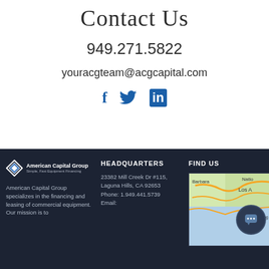Contact Us
949.271.5822
youracgteam@acgcapital.com
[Figure (infographic): Social media icons: Facebook (f), Twitter bird, LinkedIn (in) in blue]
[Figure (logo): American Capital Group logo with diamond icon and tagline 'Simple, Fast Equipment Financing']
HEADQUARTERS
FIND US
American Capital Group specializes in the financing and leasing of commercial equipment. Our mission is to
23382 Mill Creek Dr #115, Laguna Hills, CA 92653
Phone: 1.949.441.5739
Email:
[Figure (map): Google map showing Southern California area including Santa Barbara, Los Angeles, and surrounding regions]